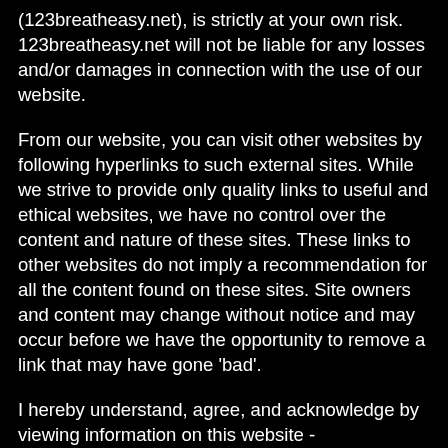(123breatheasy.net), is strictly at your own risk. 123breatheasy.net will not be liable for any losses and/or damages in connection with the use of our website.
From our website, you can visit other websites by following hyperlinks to such external sites. While we strive to provide only quality links to useful and ethical websites, we have no control over the content and nature of these sites. These links to other websites do not imply a recommendation for all the content found on these sites. Site owners and content may change without notice and may occur before we have the opportunity to remove a link that may have gone 'bad'.
I hereby understand, agree, and acknowledge by viewing information on this website - https://123breatheasy.net that the courses and consultations offered by Healthy Living Today are developed for informational purposes only, and in no way are to be used as a substitute for advice from my medical doctor. I also understand that I must not consider the information and statements made on the website as a replacement for treatment by my medical doctor.